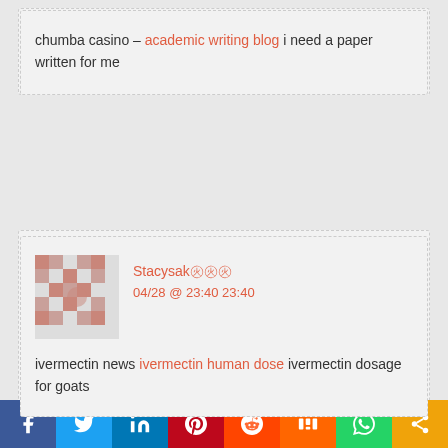chumba casino – academic writing blog i need a paper written for me
Stacysak — 04/28 @ 23:40 23:40
ivermectin news ivermectin human dose ivermectin dosage for goats
Srlfcy — 04/29 @ 22:42 22:42